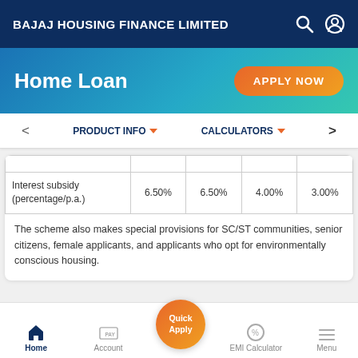BAJAJ HOUSING FINANCE LIMITED
Home Loan
APPLY NOW
PRODUCT INFO   CALCULATORS
|  |  |  |  |  |
| --- | --- | --- | --- | --- |
| Interest subsidy (percentage/p.a.) | 6.50% | 6.50% | 4.00% | 3.00% |
The scheme also makes special provisions for SC/ST communities, senior citizens, female applicants, and applicants who opt for environmentally conscious housing.
Home   Account   Quick Apply   EMI Calculator   Menu